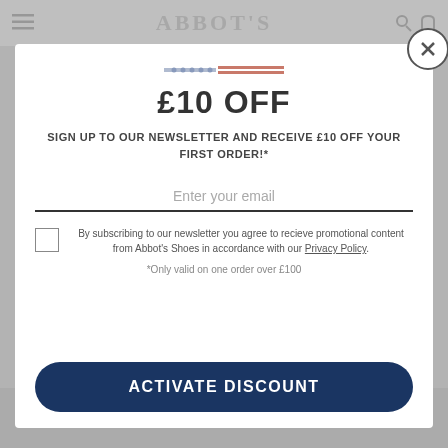ABBOT'S
£10 OFF
SIGN UP TO OUR NEWSLETTER AND RECEIVE £10 OFF YOUR FIRST ORDER!*
Enter your email
By subscribing to our newsletter you agree to recieve promotional content from Abbot's Shoes in accordance with our Privacy Policy.
*Only valid on one order over £100
ACTIVATE DISCOUNT